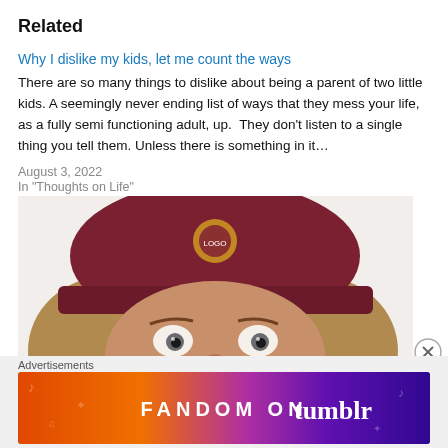Related
Why I dislike my kids, let me count the ways
There are so many things to dislike about being a parent of two little kids. A seemingly never ending list of ways that they mess your life, as a fully semi functioning adult, up.  They don't listen to a single thing you tell them. Unless there is something in it…
August 3, 2022
In "Thoughts on Life"
[Figure (photo): Person lying down wearing a dark red baseball cap with a logo, wide eyes visible, wearing a black face mask, light-colored hair spread around them on white pillow]
Advertisements
[Figure (infographic): Fandom on Tumblr advertisement banner with colorful gradient background (orange to purple) with music notes and decorative elements, text reading FANDOM ON tumblr]